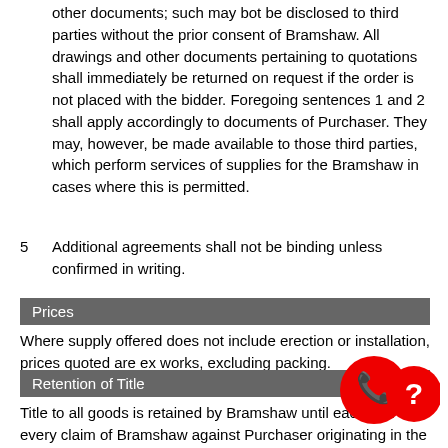other documents; such may bot be disclosed to third parties without the prior consent of Bramshaw. All drawings and other documents pertaining to quotations shall immediately be returned on request if the order is not placed with the bidder. Foregoing sentences 1 and 2 shall apply accordingly to documents of Purchaser. They may, however, be made available to those third parties, which perform services of supplies for the Bramshaw in cases where this is permitted.
5  Additional agreements shall not be binding unless confirmed in writing.
Prices
Where supply offered does not include erection or installation, prices quoted are ex works, excluding packing.
Retention of Title
Title to all goods is retained by Bramshaw until each and every claim of Bramshaw against Purchaser originating in the business relations has been duly satisfied. Prior to this event goods may not be pledged or given as security and may only be sold to resellers in the normal course of business, against payment from their Customers. Any costs incurred in connection with interventions following this Section shall be borne by